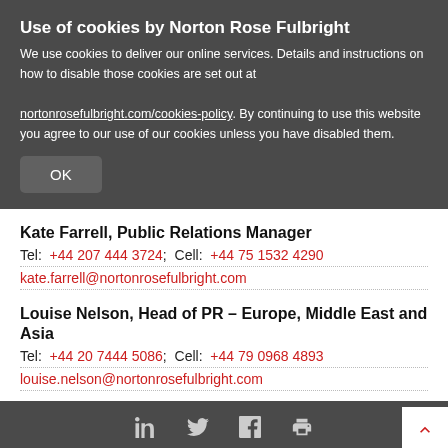Use of cookies by Norton Rose Fulbright
We use cookies to deliver our online services. Details and instructions on how to disable those cookies are set out at nortonrosefulbright.com/cookies-policy. By continuing to use this website you agree to our use of our cookies unless you have disabled them.
OK
Kate Farrell, Public Relations Manager
Tel: +44 207 444 3724; Cell: +44 75 1532 4290
kate.farrell@nortonrosefulbright.com
Louise Nelson, Head of PR – Europe, Middle East and Asia
Tel: +44 20 7444 5086; Cell: +44 79 0968 4893
louise.nelson@nortonrosefulbright.com
Social icons: LinkedIn, Twitter, Facebook, Print